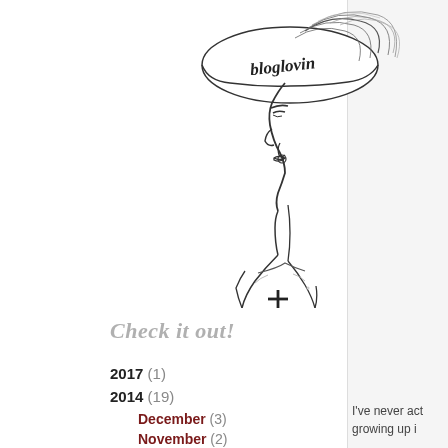[Figure (illustration): Line drawing illustration of a stylized woman in profile facing left, wearing a hat with 'bloglovin' written in script on it, with elaborate upswept hair. She wears a top with a '+' (plus/cross) symbol on it. The drawing is in black ink on white background.]
Check it out!
2017 (1)
2014 (19)
December (3)
November (2)
October (3)
I've never act growing up i